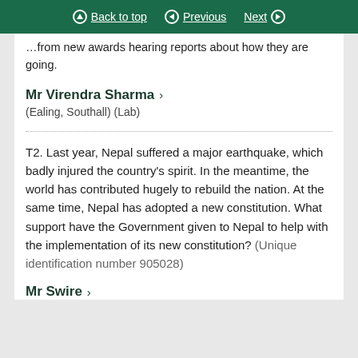Back to top | Previous | Next
…from new awards hearing reports about how they are going.
Mr Virendra Sharma
(Ealing, Southall) (Lab)
T2. Last year, Nepal suffered a major earthquake, which badly injured the country's spirit. In the meantime, the world has contributed hugely to rebuild the nation. At the same time, Nepal has adopted a new constitution. What support have the Government given to Nepal to help with the implementation of its new constitution? (Unique identification number 905028)
Mr Swire